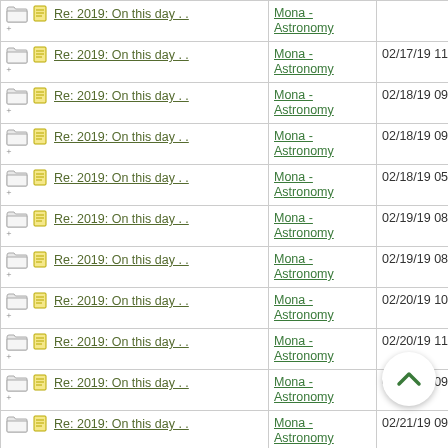| Subject | Forum | Date |
| --- | --- | --- |
| Re: 2019: On this day . . | Mona - Astronomy | (cropped) |
| Re: 2019: On this day . . | Mona - Astronomy | 02/17/19 11:33 AM |
| Re: 2019: On this day . . | Mona - Astronomy | 02/18/19 09:14 AM |
| Re: 2019: On this day . . | Mona - Astronomy | 02/18/19 09:24 AM |
| Re: 2019: On this day . . | Mona - Astronomy | 02/18/19 05:55 PM |
| Re: 2019: On this day . . | Mona - Astronomy | 02/19/19 08:21 AM |
| Re: 2019: On this day . . | Mona - Astronomy | 02/19/19 08:23 AM |
| Re: 2019: On this day . . | Mona - Astronomy | 02/20/19 10:57 AM |
| Re: 2019: On this day . . | Mona - Astronomy | 02/20/19 11:02 AM |
| Re: 2019: On this day . . | Mona - Astronomy | 02/21/19 09:01 AM |
| Re: 2019: On this day . . | Mona - Astronomy | 02/21/19 09:04 AM |